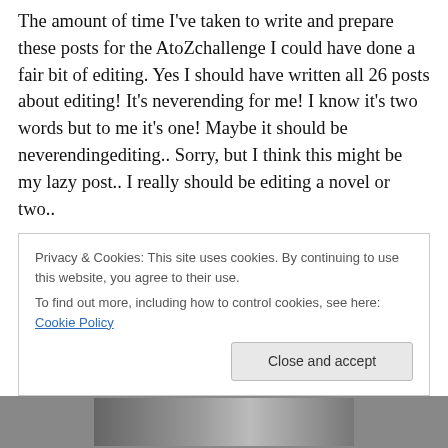The amount of time I've taken to write and prepare these posts for the AtoZchallenge I could have done a fair bit of editing.  Yes I should have written all 26 posts about editing!  It's neverending for me!  I know it's two words but to me it's one!  Maybe it should be neverendingediting..  Sorry, but I think this might be my lazy post..  I really should be editing a novel or two..
I've got tons more in me to be written and want to get the first three finished before I get stuck into the next ones.  Come back to them when I've forgotten about them, when
Privacy & Cookies: This site uses cookies. By continuing to use this website, you agree to their use.
To find out more, including how to control cookies, see here: Cookie Policy
[Close and accept]
[Figure (photo): Partial image visible at the bottom of the page, appears to be a photograph cut off]